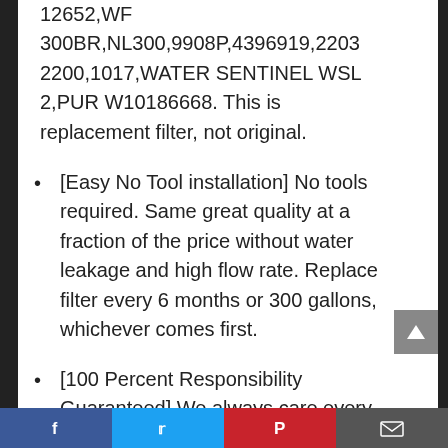12652,WF 300BR,NL300,9908P,4396919,22032200,1017,WATER SENTINEL WSL 2,PUR W10186668. This is replacement filter, not original.
[Easy No Tool installation] No tools required. Same great quality at a fraction of the price without water leakage and high flow rate. Replace filter every 6 months or 300 gallons, whichever comes first.
[100 Percent Responsibility Guaranteed] We always care every customer's shopping experience. We will offer 30 Days' Limited